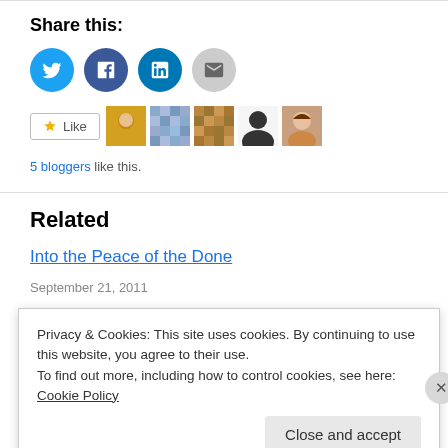Share this:
[Figure (infographic): Four social sharing buttons: Twitter (blue circle), Facebook (blue circle), LinkedIn (blue circle), Email (gray circle)]
[Figure (infographic): Like button with star icon and 5 blogger avatars]
5 bloggers like this.
Related
Into the Peace of the Done
September 21, 2011
Privacy & Cookies: This site uses cookies. By continuing to use this website, you agree to their use.
To find out more, including how to control cookies, see here: Cookie Policy
Close and accept